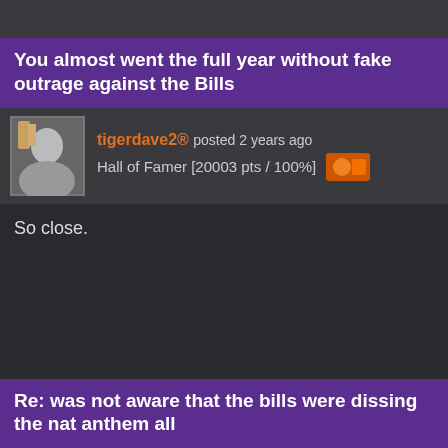You almost went the full year without fake outrage against the Bills
tigerdave2® posted 2 years ago
Hall of Famer [20003 pts / 100%]
So close.
Re: was not aware that the bills were dissing the nat anthem all